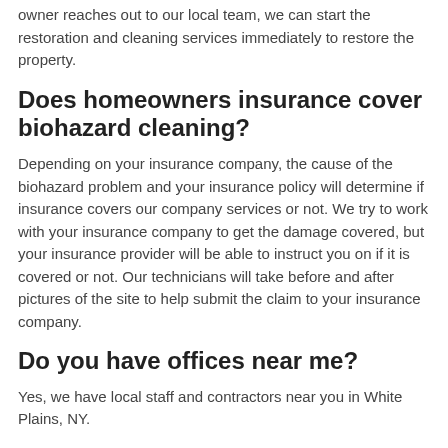owner reaches out to our local team, we can start the restoration and cleaning services immediately to restore the property.
Does homeowners insurance cover biohazard cleaning?
Depending on your insurance company, the cause of the biohazard problem and your insurance policy will determine if insurance covers our company services or not. We try to work with your insurance company to get the damage covered, but your insurance provider will be able to instruct you on if it is covered or not. Our technicians will take before and after pictures of the site to help submit the claim to your insurance company.
Do you have offices near me?
Yes, we have local staff and contractors near you in White Plains, NY.